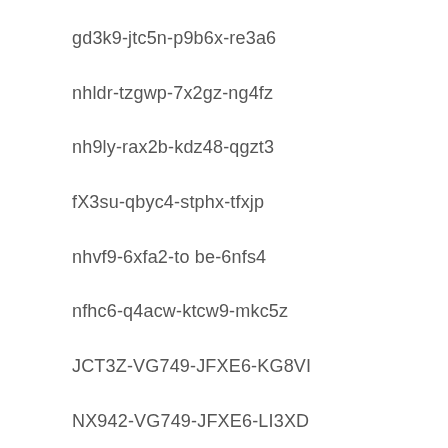gd3k9-jtc5n-p9b6x-re3a6
nhldr-tzgwp-7x2gz-ng4fz
nh9ly-rax2b-kdz48-qgzt3
fX3su-qbyc4-stphx-tfxjp
nhvf9-6xfa2-to be-6nfs4
nfhc6-q4acw-ktcw9-mkc5z
JCT3Z-VG749-JFXE6-KG8VI
NX942-VG749-JFXE6-LI3XD